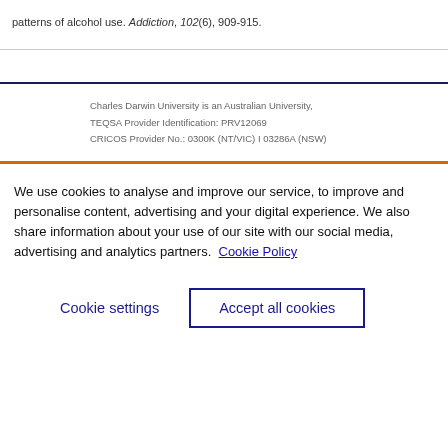patterns of alcohol use. Addiction, 102(6), 909-915.
Charles Darwin University is an Australian University, TEQSA Provider Identification: PRV12069 CRICOS Provider No.: 0300K (NT/VIC) I 03286A (NSW)
We use cookies to analyse and improve our service, to improve and personalise content, advertising and your digital experience. We also share information about your use of our site with our social media, advertising and analytics partners. Cookie Policy
Cookie settings
Accept all cookies